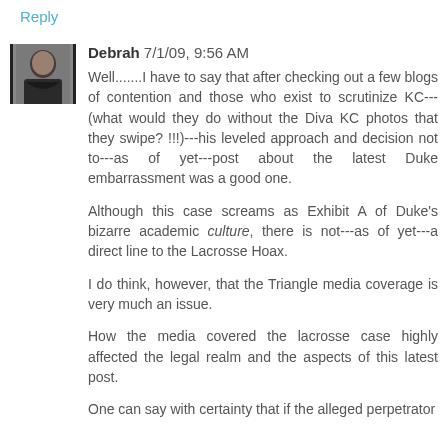Reply
Debrah 7/1/09, 9:56 AM
Well.......I have to say that after checking out a few blogs of contention and those who exist to scrutinize KC---(what would they do without the Diva KC photos that they swipe? !!!)---his leveled approach and decision not to---as of yet---post about the latest Duke embarrassment was a good one.
Although this case screams as Exhibit A of Duke's bizarre academic culture, there is not---as of yet---a direct line to the Lacrosse Hoax.
I do think, however, that the Triangle media coverage is very much an issue.
How the media covered the lacrosse case highly affected the legal realm and the aspects of this latest post.
One can say with certainty that if the alleged perpetrator